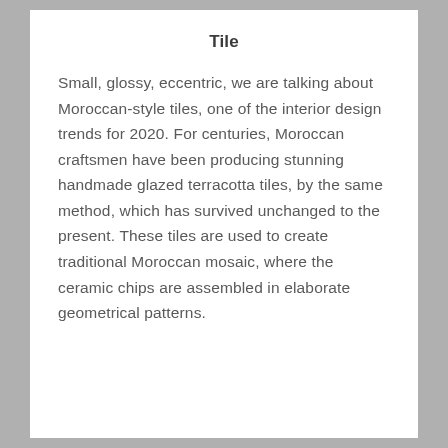Tile
Small, glossy, eccentric, we are talking about Moroccan-style tiles, one of the interior design trends for 2020. For centuries, Moroccan craftsmen have been producing stunning handmade glazed terracotta tiles, by the same method, which has survived unchanged to the present. These tiles are used to create traditional Moroccan mosaic, where the ceramic chips are assembled in elaborate geometrical patterns.